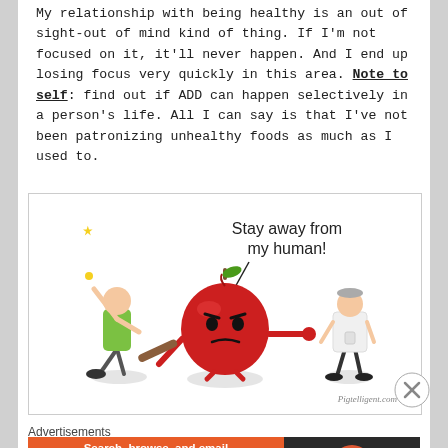My relationship with being healthy is an out of sight-out of mind kind of thing. If I'm not focused on it, it'll never happen. And I end up losing focus very quickly in this area. Note to self: find out if ADD can happen selectively in a person's life. All I can say is that I've not been patronizing unhealthy foods as much as I used to.
[Figure (illustration): Cartoon illustration of an angry red apple character pointing away a doctor while a person throws something in the air. Text bubble says 'Stay away from my human!' Watermark: Pigtelligent.com]
Advertisements
[Figure (screenshot): DuckDuckGo advertisement banner. Left side orange background: 'Search, browse, and email with more privacy. All in One Free App'. Right side dark background with DuckDuckGo duck logo.]